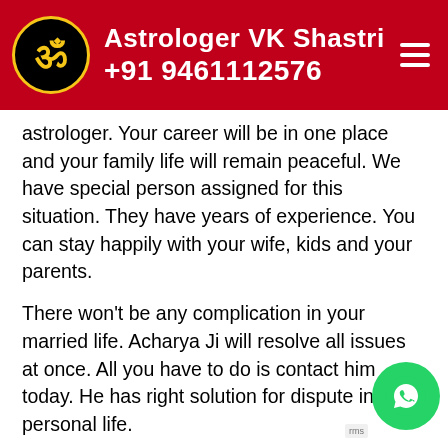Astrologer VK Shastri +91 9461112576
astrologer. Your career will be in one place and your family life will remain peaceful. We have special person assigned for this situation. They have years of experience. You can stay happily with your wife, kids and your parents.
There won't be any complication in your married life. Acharya Ji will resolve all issues at once. All you have to do is contact him today. He has right solution for dispute in personal life.
Power Of Black Magic Specialist
Generally, the black magic specialists are very powerful. They can do anything they want. If you want them to take control over another person, they can easily do it. There are some positive outcomes as well. You can get back your love with this. Sometimes, there are situations when